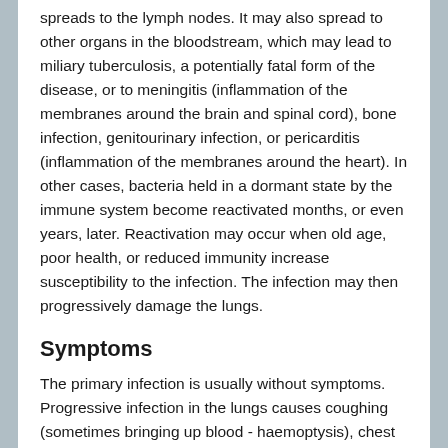infection at this point, but in some cases the infection spreads to the lymph nodes. It may also spread to other organs in the bloodstream, which may lead to miliary tuberculosis, a potentially fatal form of the disease, or to meningitis (inflammation of the membranes around the brain and spinal cord), bone infection, genitourinary infection, or pericarditis (inflammation of the membranes around the heart). In other cases, bacteria held in a dormant state by the immune system become reactivated months, or even years, later. Reactivation may occur when old age, poor health, or reduced immunity increase susceptibility to the infection. The infection may then progressively damage the lungs.
Symptoms
The primary infection is usually without symptoms. Progressive infection in the lungs causes coughing (sometimes bringing up blood - haemoptysis), chest pain, shortness of breath, fever and sweating, poor appetite, and weight loss. Pleural effusion (collection of fluid between the lung and chest wall) or pneumonia